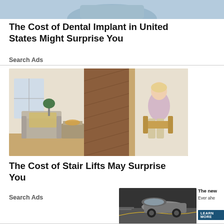[Figure (photo): Partial photo of a dental professional or person, cropped at top of page]
The Cost of Dental Implant in United States Might Surprise You
Search Ads
[Figure (photo): Elderly woman riding a stair lift chair on a wooden staircase in a home setting, with armchair and side table visible]
The Cost of Stair Lifts May Surprise You
Search Ads
[Figure (photo): Advertisement image of a car on a road]
The new
Ever ahe
LEARN MORE